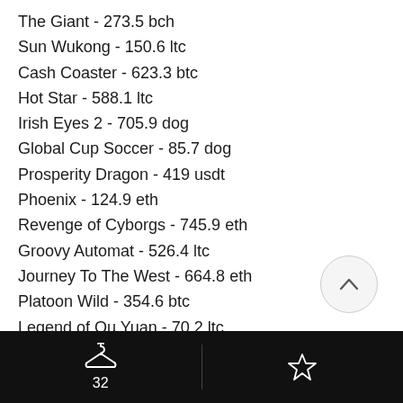The Giant - 273.5 bch
Sun Wukong - 150.6 ltc
Cash Coaster - 623.3 btc
Hot Star - 588.1 ltc
Irish Eyes 2 - 705.9 dog
Global Cup Soccer - 85.7 dog
Prosperity Dragon - 419 usdt
Phoenix - 124.9 eth
Revenge of Cyborgs - 745.9 eth
Groovy Automat - 526.4 ltc
Journey To The West - 664.8 eth
Platoon Wild - 354.6 btc
Legend of Qu Yuan - 70.2 ltc
New Games:
CryptoGames Mona Lisa Jewels
Mars Casino Secrets of Christmas
— BTC.fun.bet Thai Temple (partial, cut off)
32